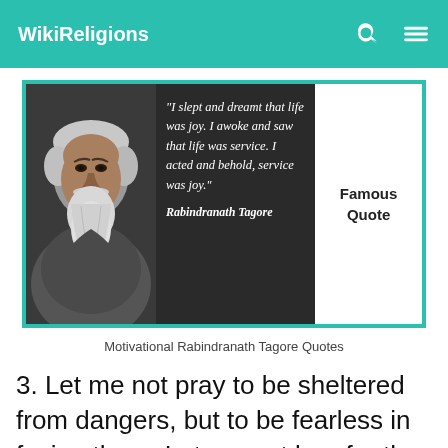WikiReligions
[Figure (illustration): Famous quote image with black and white portrait of Rabindranath Tagore on dark background with italic quote text: "I slept and dreamt that life was joy. I awoke and saw that life was service. I acted and behold, service was joy." Rabindranath Tagore. Right side shows white panel with text 'Famous Quote'. Bordered with teal/turquoise frame.]
Motivational Rabindranath Tagore Quotes
3. Let me not pray to be sheltered from dangers, but to be fearless in facing them. Let me not beg for the stilling of my pain,